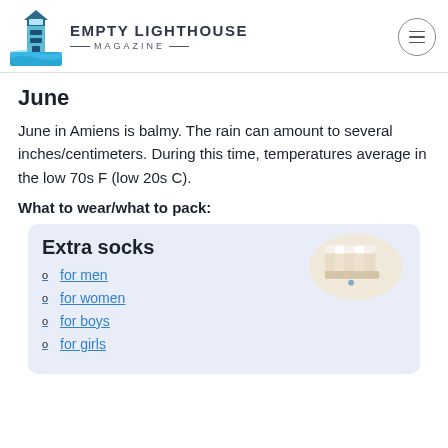Empty Lighthouse Magazine
June
June in Amiens is balmy. The rain can amount to several inches/centimeters. During this time, temperatures average in the low 70s F (low 20s C).
What to wear/what to pack:
[Figure (other): Product card with light blue background showing 'Extra socks' title, an image of white socks, and links for men, women, boys, and girls]
for men
for women
for boys
for girls